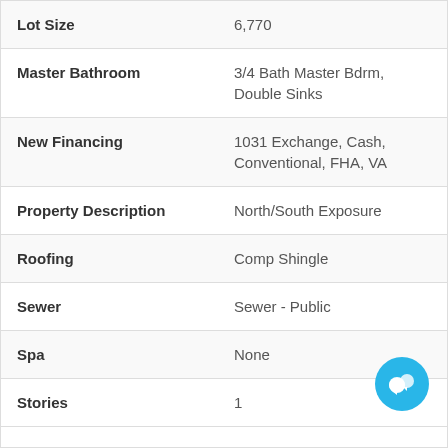| Field | Value |
| --- | --- |
| Lot Size | 6,770 |
| Master Bathroom | 3/4 Bath Master Bdrm, Double Sinks |
| New Financing | 1031 Exchange, Cash, Conventional, FHA, VA |
| Property Description | North/South Exposure |
| Roofing | Comp Shingle |
| Sewer | Sewer - Public |
| Spa | None |
| Stories | 1 |